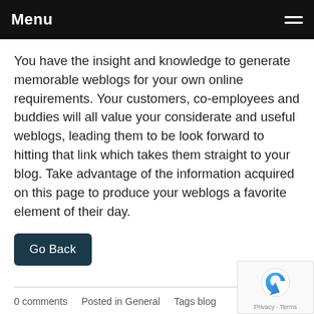Menu
You have the insight and knowledge to generate memorable weblogs for your own online requirements. Your customers, co-employees and buddies will all value your considerate and useful weblogs, leading them to be look forward to hitting that link which takes them straight to your blog. Take advantage of the information acquired on this page to produce your weblogs a favorite element of their day.
Go Back
0 comments   Posted in General   Tags blog
Comment